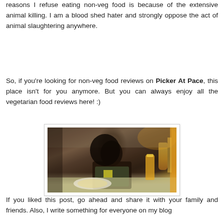reasons I refuse eating non-veg food is because of the extensive animal killing. I am a blood shed hater and strongly oppose the act of animal slaughtering anywhere.
So, if you're looking for non-veg food reviews on Picker At Pace, this place isn't for you anymore. But you can always enjoy all the vegetarian food reviews here! :)
[Figure (photo): A young woman with long dark hair sitting at a restaurant table with food and an orange juice glass in front of her, in a warmly lit restaurant setting.]
If you liked this post, go ahead and share it with your family and friends. Also, I write something for everyone on my blog